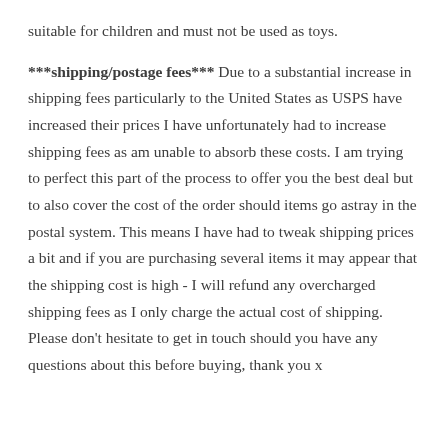suitable for children and must not be used as toys.
***shipping/postage fees*** Due to a substantial increase in shipping fees particularly to the United States as USPS have increased their prices I have unfortunately had to increase shipping fees as am unable to absorb these costs. I am trying to perfect this part of the process to offer you the best deal but to also cover the cost of the order should items go astray in the postal system. This means I have had to tweak shipping prices a bit and if you are purchasing several items it may appear that the shipping cost is high - I will refund any overcharged shipping fees as I only charge the actual cost of shipping. Please don't hesitate to get in touch should you have any questions about this before buying, thank you x